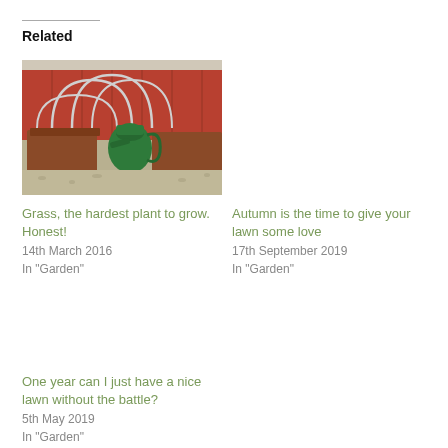Related
[Figure (photo): Photo of a garden with raised beds, metal hoops, a green watering can, and a red fence in the background.]
Grass, the hardest plant to grow. Honest!
14th March 2016
In "Garden"
Autumn is the time to give your lawn some love
17th September 2019
In "Garden"
One year can I just have a nice lawn without the battle?
5th May 2019
In "Garden"